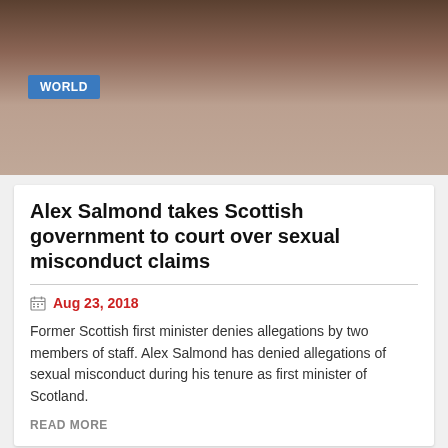[Figure (photo): Close-up photo of a man's face, slightly out of focus, with a 'WORLD' category badge overlaid in blue]
Alex Salmond takes Scottish government to court over sexual misconduct claims
Aug 23, 2018
Former Scottish first minister denies allegations by two members of staff. Alex Salmond has denied allegations of sexual misconduct during his tenure as first minister of Scotland.
READ MORE
[Figure (photo): Street scene showing a large crowd marching with Scottish Saltire flags and other flags along a city street, with Georgian-style buildings in the background]